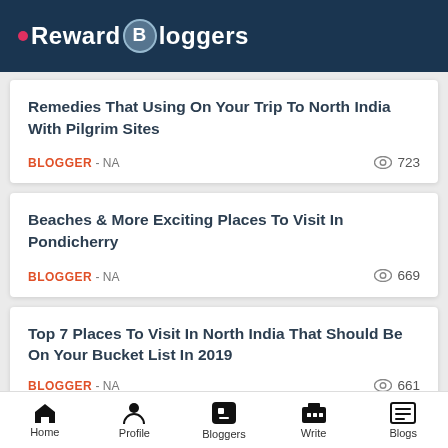Reward Bloggers
Remedies That Using On Your Trip To North India With Pilgrim Sites
BLOGGER - NA   👁 723
Beaches & More Exciting Places To Visit In Pondicherry
BLOGGER - NA   👁 669
Top 7 Places To Visit In North India That Should Be On Your Bucket List In 2019
BLOGGER - NA   👁 661
Home  Profile  Bloggers  Write  Blogs